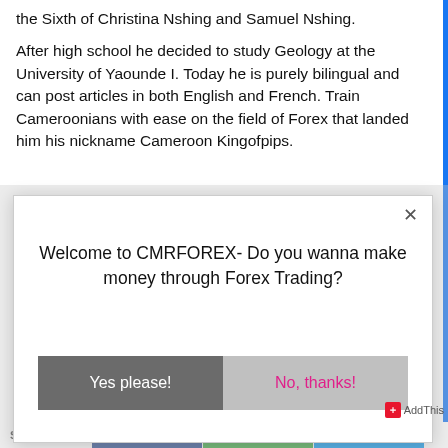the Sixth of Christina Nshing and Samuel Nshing.
After high school he decided to study Geology at the University of Yaounde I. Today he is purely bilingual and can post articles in both English and French. Train Cameroonians with ease on the field of Forex that landed him his nickname Cameroon Kingofpips.
[Figure (screenshot): A modal popup dialog with close button (×), title text 'Welcome to CMRFOREX- Do you wanna make money through Forex Trading?', and two buttons: 'Yes please!' (dark gray background, white text) and 'No, thanks!' (light gray background, pink text).]
SHARES  [Facebook share] [Green share] [Blue share]  AddThis